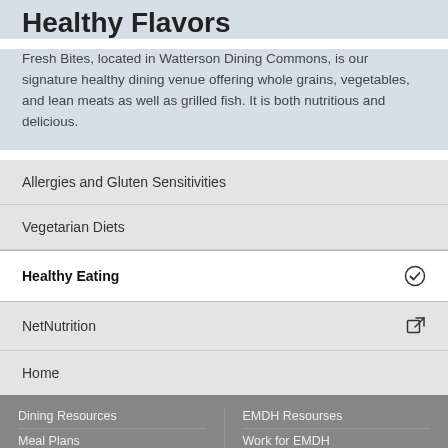Healthy Flavors
Fresh Bites, located in Watterson Dining Commons, is our signature healthy dining venue offering whole grains, vegetables, and lean meats as well as grilled fish. It is both nutritious and delicious.
Allergies and Gluten Sensitivities
Vegetarian Diets
Healthy Eating
NetNutrition
Home
Dining Resources | Meal Plans | EMDH Resourses | Work for EMDH